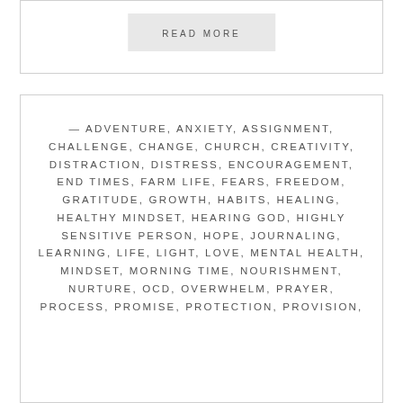READ MORE
— ADVENTURE, ANXIETY, ASSIGNMENT, CHALLENGE, CHANGE, CHURCH, CREATIVITY, DISTRACTION, DISTRESS, ENCOURAGEMENT, END TIMES, FARM LIFE, FEARS, FREEDOM, GRATITUDE, GROWTH, HABITS, HEALING, HEALTHY MINDSET, HEARING GOD, HIGHLY SENSITIVE PERSON, HOPE, JOURNALING, LEARNING, LIFE, LIGHT, LOVE, MENTAL HEALTH, MINDSET, MORNING TIME, NOURISHMENT, NURTURE, OCD, OVERWHELM, PRAYER, PROCESS, PROMISE, PROTECTION, PROVISION,